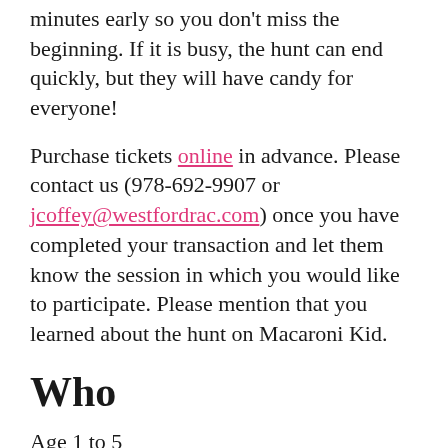minutes early so you don't miss the beginning. If it is busy, the hunt can end quickly, but they will have candy for everyone!
Purchase tickets online in advance. Please contact us (978-692-9907 or jcoffey@westfordrac.com) once you have completed your transaction and let them know the session in which you would like to participate. Please mention that you learned about the hunt on Macaroni Kid.
Who
Age 1 to 5
Cost